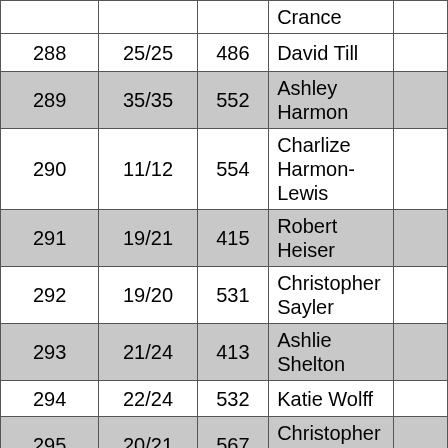|  |  |  |  |  |
| --- | --- | --- | --- | --- |
|  |  |  | Crance |  |
| 288 | 25/25 | 486 | David Till |  |
| 289 | 35/35 | 552 | Ashley Harmon |  |
| 290 | 11/12 | 554 | Charlize Harmon-Lewis |  |
| 291 | 19/21 | 415 | Robert Heiser |  |
| 292 | 19/20 | 531 | Christopher Sayler |  |
| 293 | 21/24 | 413 | Ashlie Shelton |  |
| 294 | 22/24 | 532 | Katie Wolff |  |
| 295 | 20/21 | 567 | Christopher Dimase |  |
| 296 | 23/24 | 543 | Jocelyn Harmon |  |
| 297 | 7/7 | 233 | Marcia Carter |  |
| 298 | 17/17 | 231 | Kevin Marcs |  |